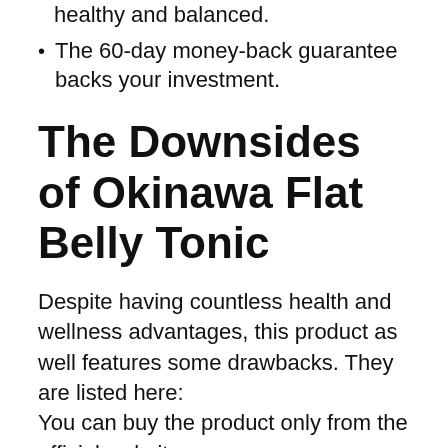healthy and balanced.
The 60-day money-back guarantee backs your investment.
The Downsides of Okinawa Flat Belly Tonic
Despite having countless health and wellness advantages, this product as well features some drawbacks. They are listed here:
You can buy the product only from the official website.
According to the official website, expectant